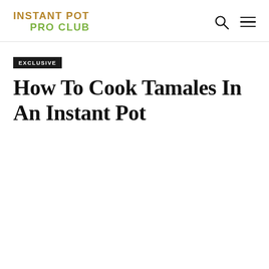INSTANT POT PRO CLUB
EXCLUSIVE
How To Cook Tamales In An Instant Pot